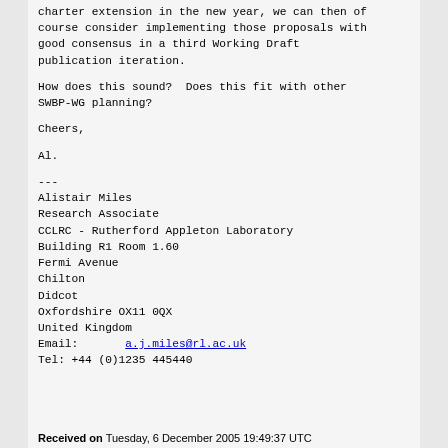charter extension in the new year, we can then of course consider implementing those proposals with good consensus in a third Working Draft publication iteration.

How does this sound?  Does this fit with other SWBP-WG planning?

Cheers,

Al.
---
Alistair Miles
Research Associate
CCLRC - Rutherford Appleton Laboratory
Building R1 Room 1.60
Fermi Avenue
Chilton
Didcot
Oxfordshire OX11 0QX
United Kingdom
Email:        a.j.miles@rl.ac.uk
Tel: +44 (0)1235 445440
Received on Tuesday, 6 December 2005 19:49:37 UTC